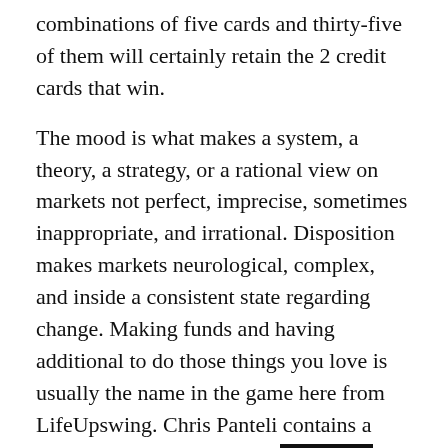combinations of five cards and thirty-five of them will certainly retain the 2 credit cards that win.
The mood is what makes a system, a theory, a strategy, or a rational view on markets not perfect, imprecise, sometimes inappropriate, and irrational. Disposition makes markets neurological, complex, and inside a consistent state regarding change. Making funds and having additional to do those things you love is usually the name in the game here from LifeUpswing. Chris Panteli contains a Degree inside Business live[REDACTED] Economics coming from the University regarding Liverpool and a new background in financing, small company, start-ups, plus side hustles. This individual has written upon large industry magazines including the Nyc Times, Forbes, Proceed Banking Rates, BING, and Yahoo Financing. The Sandbox is really a community-driven virtual globe that allows makers to